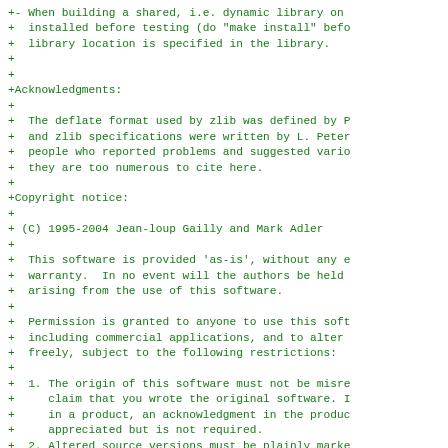+- When building a shared, i.e. dynamic library on
+  installed before testing (do "make install" befo
+  library location is specified in the library.
+
+
+Acknowledgments:
+
+  The deflate format used by zlib was defined by P
+  and zlib specifications were written by L. Peter
+  people who reported problems and suggested vario
+  they are too numerous to cite here.
+
+Copyright notice:
+
+ (C) 1995-2004 Jean-loup Gailly and Mark Adler
+
+  This software is provided 'as-is', without any e
+  warranty.  In no event will the authors be held
+  arising from the use of this software.
+
+  Permission is granted to anyone to use this soft
+  including commercial applications, and to alter
+  freely, subject to the following restrictions:
+
+  1. The origin of this software must not be misre
+     claim that you wrote the original software. I
+     in a product, an acknowledgment in the produc
+     appreciated but is not required.
+  2. Altered source versions must be plainly marke
+     misrepresented as being the original software